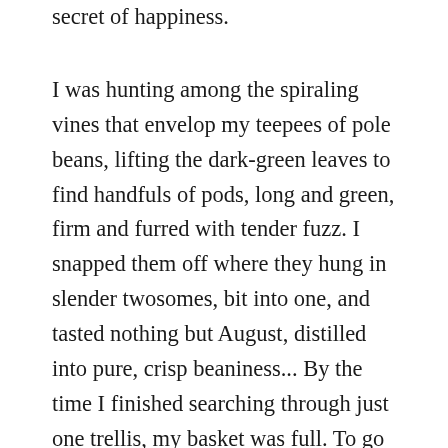secret of happiness.
I was hunting among the spiraling vines that envelop my teepees of pole beans, lifting the dark-green leaves to find handfuls of pods, long and green, firm and furred with tender fuzz. I snapped them off where they hung in slender twosomes, bit into one, and tasted nothing but August, distilled into pure, crisp beaniness... By the time I finished searching through just one trellis, my basket was full. To go and empty it in the kitchen, I stepped between heavy squash vines and around tomato plants fallen under the weight of their fruit. They sprawled at the feet of the